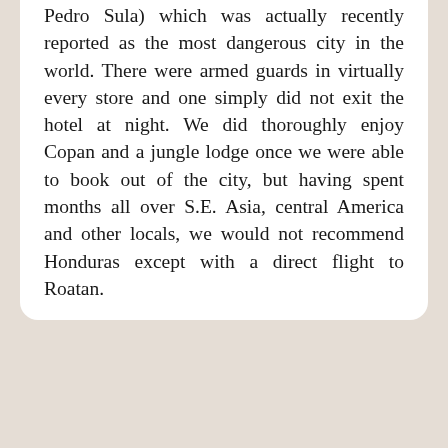Pedro Sula) which was actually recently reported as the most dangerous city in the world. There were armed guards in virtually every store and one simply did not exit the hotel at night. We did thoroughly enjoy Copan and a jungle lodge once we were able to book out of the city, but having spent months all over S.E. Asia, central America and other locals, we would not recommend Honduras except with a direct flight to Roatan.
REPLY
[Figure (photo): Circular avatar photo of a blonde woman named Alex]
Alex
March 6 2015
Hey Daisy, at the time I